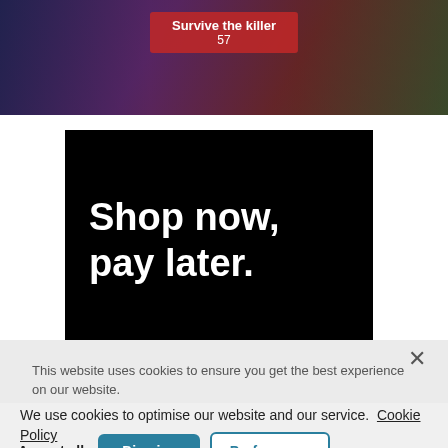[Figure (screenshot): Game banner showing 'Survive the killer 57' text on a red overlay, with characters in the background]
[Figure (screenshot): Black advertisement banner with white bold text reading 'Shop now, pay later.']
This website uses cookies to ensure you get the best experience on our website.
We use cookies to optimise our website and our service. Cookie Policy
Accept all
Dismiss
Preferences